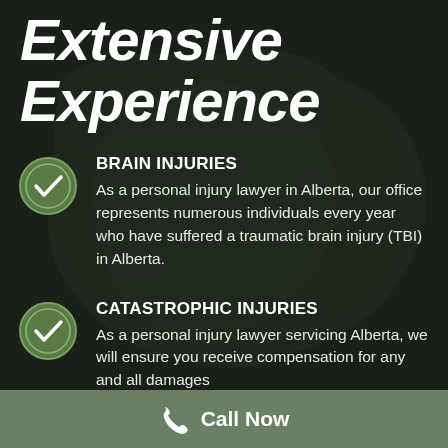Extensive Experience
BRAIN INJURIES
As a personal injury lawyer in Alberta, our office represents numerous individuals every year who have suffered a traumatic brain injury (TBI) in Alberta.
CATASTROPHIC INJURIES
As a personal injury lawyer servicing Alberta, we will ensure you receive compensation for any and all damages
Call Now